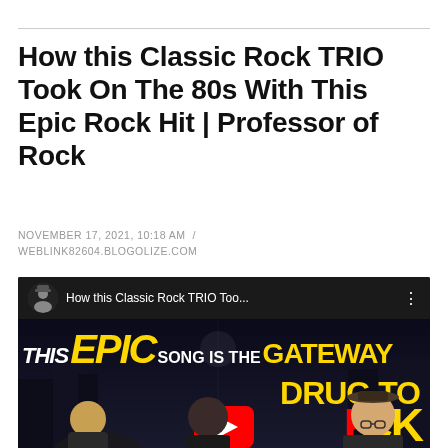How this Classic Rock TRIO Took On The 80s With This Epic Rock Hit | Professor of Rock
NOVEMBER 17, 2021, 10:18 AM / WEBLINK82604.BLOGOLIZE.COM
[Figure (screenshot): YouTube video thumbnail showing 'How this Classic Rock TRIO Too...' with text overlay 'THIS EPIC SONG IS THE GATEWAY DRUG TO ROCK' in gold/yellow letters on dark background with people silhouettes]